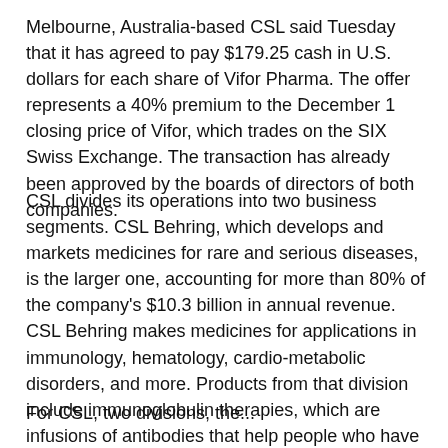Melbourne, Australia-based CSL said Tuesday that it has agreed to pay $179.25 cash in U.S. dollars for each share of Vifor Pharma. The offer represents a 40% premium to the December 1 closing price of Vifor, which trades on the SIX Swiss Exchange. The transaction has already been approved by the boards of directors of both companies.
CSL divides its operations into two business segments. CSL Behring, which develops and markets medicines for rare and serious diseases, is the larger one, accounting for more than 80% of the company's $10.3 billion in annual revenue. CSL Behring makes medicines for applications in immunology, hematology, cardio-metabolic disorders, and more. Products from that division include immunoglobulin therapies, which are infusions of antibodies that help people who have weakened immune systems fight off infections. Seqiris is CSL's influenza vaccine division. That business unit is the former flu vaccines business of Novartis, which CSL purchased in 2015.
For CSL, two divisions, the...